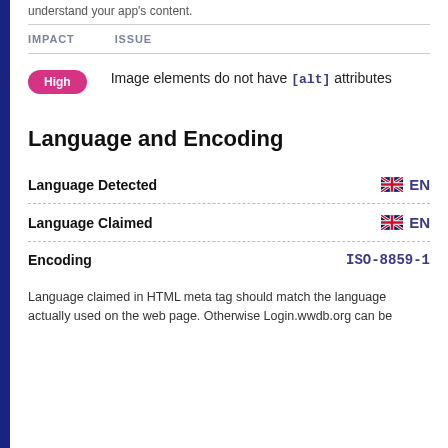understand your app's content.
| IMPACT | ISSUE |
| --- | --- |
| High | Image elements do not have [alt] attributes |
Language and Encoding
Language Detected
EN
Language Claimed
EN
Encoding
ISO-8859-1
Language claimed in HTML meta tag should match the language actually used on the web page. Otherwise Login.wwdb.org can be